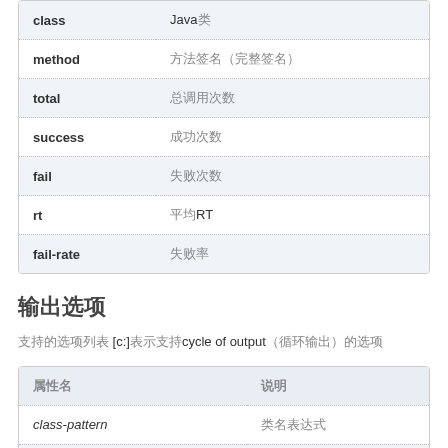| 属性名 | 说明 |
| --- | --- |
| class | Java类 |
| method | 方法签名（完整签名） |
| total | 总调用次数 |
| success | 成功次数 |
| fail | 失败次数 |
| rt | 平均RT |
| fail-rate | 失败率 |
输出选项
支持的选项列表 [c:]表示支持cycle of output（循环输出）的选项
| 属性名 | 说明 |
| --- | --- |
| class-pattern | 类名表达式 |
| method-pattern | 方法名表达式 |